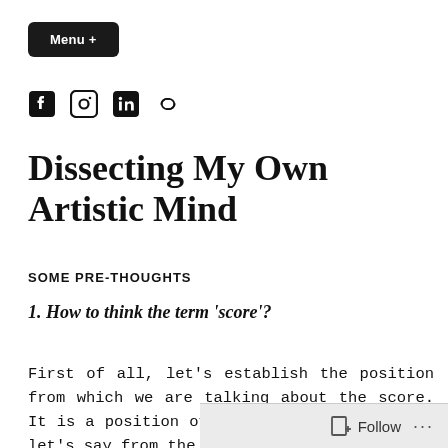Menu +
[Figure (illustration): Social media icons: Facebook, Instagram, LinkedIn, and a link/chain icon]
Dissecting My Own Artistic Mind
SOME PRE-THOUGHTS
1. How to think the term 'score'?
First of all, let's establish the position from which we are talking about the score. It is a position of an artist, and moreover let's say from the position of an artist in
Follow ...